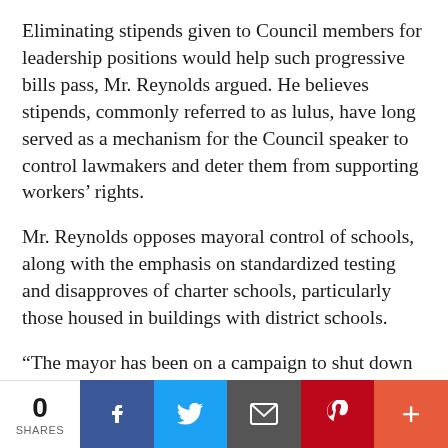Eliminating stipends given to Council members for leadership positions would help such progressive bills pass, Mr. Reynolds argued. He believes stipends, commonly referred to as lulus, have long served as a mechanism for the Council speaker to control lawmakers and deter them from supporting workers' rights.
Mr. Reynolds opposes mayoral control of schools, along with the emphasis on standardized testing and disapproves of charter schools, particularly those housed in buildings with district schools.
“The mayor has been on a campaign to shut down what he calls failing schools,” Mr. Reynolds said. “Much more attention has to be paid to saving, turning around the schools.”
Though Mr. Reynolds conceded he lacks
[Figure (infographic): Social share bar with share count of 0, Facebook, Twitter, Email, Pinterest, and More buttons]